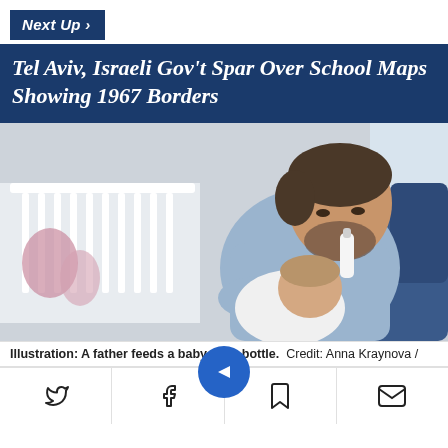Next Up >
Tel Aviv, Israeli Gov't Spar Over School Maps Showing 1967 Borders
[Figure (photo): A father sitting on a blue couch feeds a baby with a bottle, with a white crib in the background.]
Illustration: A father feeds a baby with a bottle.  Credit: Anna Kraynova /